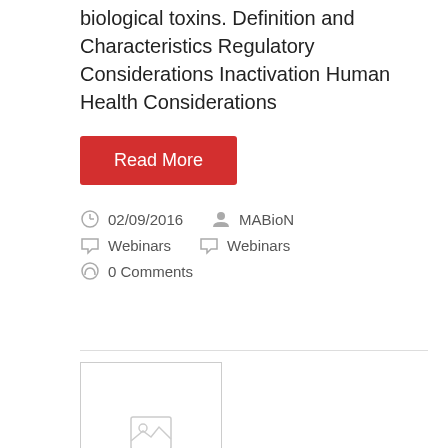biological toxins. Definition and Characteristics Regulatory Considerations Inactivation Human Health Considerations
Read More
02/09/2016  MABioN  Webinars  Webinars  0 Comments
[Figure (other): Placeholder image with a small image/photo icon in grey]
NOVEMBER WEBINAR: ENVIRONMENTAL